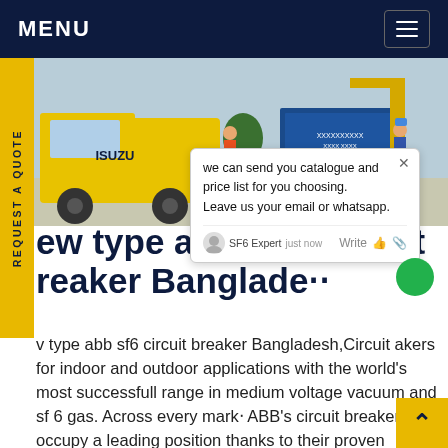MENU
[Figure (photo): Yellow Isuzu truck and workers at an electrical substation construction site in Bangladesh]
REQUEST A QUOTE
new type abb sf6 circuit breaker Bangladesh...
new type abb sf6 circuit breaker Bangladesh,Circuit breakers for indoor and outdoor applications with the world's most successfull range in medium voltage vacuum and sf 6 gas. Across every market ABB's circuit breakers occupy a leading position thanks to their proven reputation for reliability,